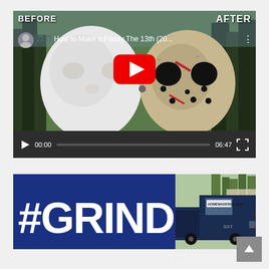[Figure (screenshot): YouTube video player showing a before/after comparison of a Friday the 13th Jason Voorhees hockey mask. Left side shows a plain white mask (BEFORE), right side shows a weathered Jason mask (AFTER). A red YouTube play button is centered on the video. The title reads 'How to Make a Friday The 13th (20...' and the video duration is 06:47. The playback time shows 00:00.]
[Figure (photo): Banner image with a dark blue background on the left showing '#GRINDAWAY' in large bold white/light text, and on the right a photo of a dark blue pickup truck with 'HOMEMADERHS.COM' text on the rear window. A scroll-up arrow button appears in the bottom-right corner.]